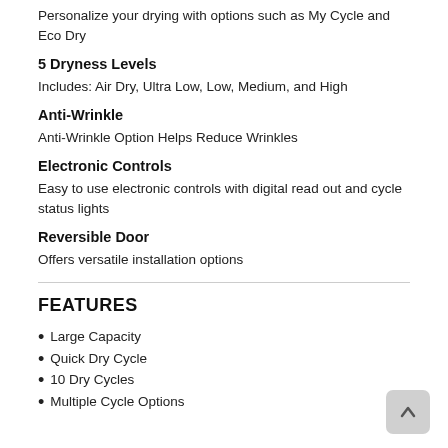Personalize your drying with options such as My Cycle and Eco Dry
5 Dryness Levels
Includes: Air Dry, Ultra Low, Low, Medium, and High
Anti-Wrinkle
Anti-Wrinkle Option Helps Reduce Wrinkles
Electronic Controls
Easy to use electronic controls with digital read out and cycle status lights
Reversible Door
Offers versatile installation options
FEATURES
Large Capacity
Quick Dry Cycle
10 Dry Cycles
Multiple Cycle Options